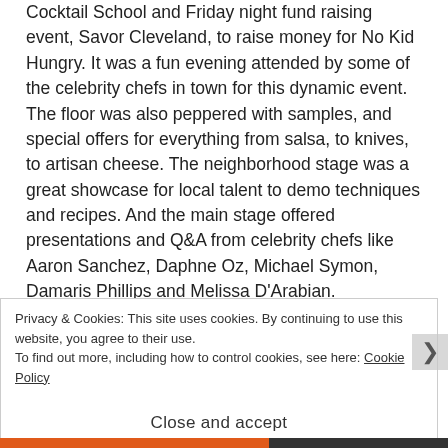Cocktail School and Friday night fund raising event, Savor Cleveland, to raise money for No Kid Hungry. It was a fun evening attended by some of the celebrity chefs in town for this dynamic event. The floor was also peppered with samples, and special offers for everything from salsa, to knives, to artisan cheese. The neighborhood stage was a great showcase for local talent to demo techniques and recipes. And the main stage offered presentations and Q&A from celebrity chefs like Aaron Sanchez, Daphne Oz, Michael Symon, Damaris Phillips and Melissa D'Arabian.

Once again I was honored to participate on a main stage event. CLE Cooks for a Cause was expanded this
Privacy & Cookies: This site uses cookies. By continuing to use this website, you agree to their use.
To find out more, including how to control cookies, see here: Cookie Policy
Close and accept